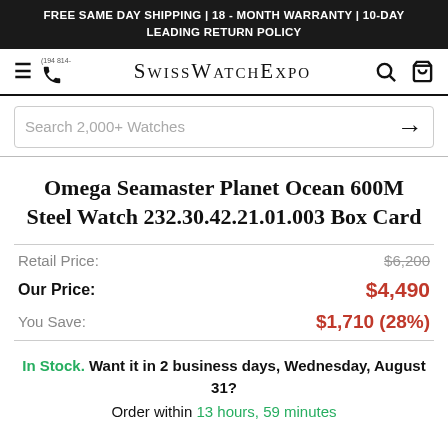FREE SAME DAY SHIPPING | 18 - MONTH WARRANTY | 10-DAY LEADING RETURN POLICY
[Figure (screenshot): SwissWatchExpo navigation bar with hamburger menu, phone icon, logo, search icon, and cart icon]
Search 2,000+ Watches
Omega Seamaster Planet Ocean 600M Steel Watch 232.30.42.21.01.003 Box Card
|  |  |
| --- | --- |
| Retail Price: | $6,200 |
| Our Price: | $4,490 |
| You Save: | $1,710 (28%) |
In Stock. Want it in 2 business days, Wednesday, August 31? Order within 13 hours, 59 minutes